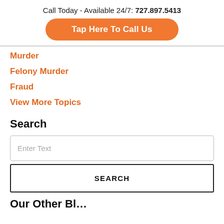Call Today - Available 24/7: 727.897.5413
Tap Here To Call Us
Murder
Felony Murder
Fraud
View More Topics
Search
Enter Text
SEARCH
Our Other Bl…